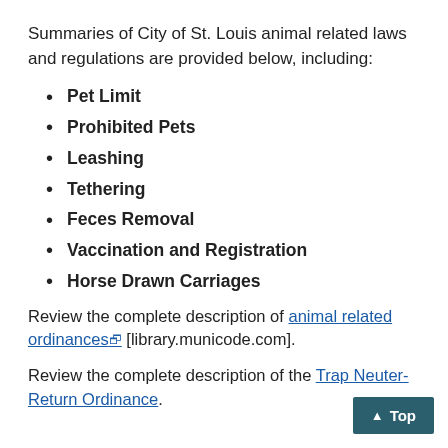Summaries of City of St. Louis animal related laws and regulations are provided below, including:
Pet Limit
Prohibited Pets
Leashing
Tethering
Feces Removal
Vaccination and Registration
Horse Drawn Carriages
Review the complete description of animal related ordinances [library.municode.com].
Review the complete description of the Trap Neuter-Return Ordinance.